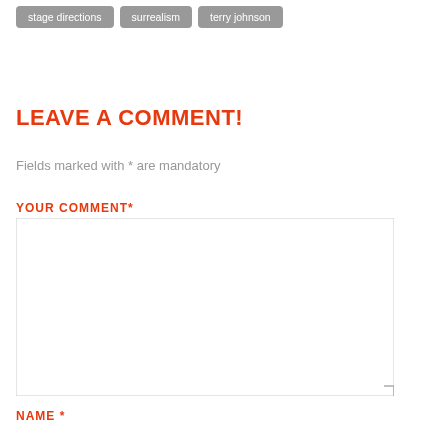stage directions
surrealism
terry johnson
LEAVE A COMMENT!
Fields marked with * are mandatory
YOUR COMMENT*
[Figure (other): Empty comment textarea input field]
NAME *